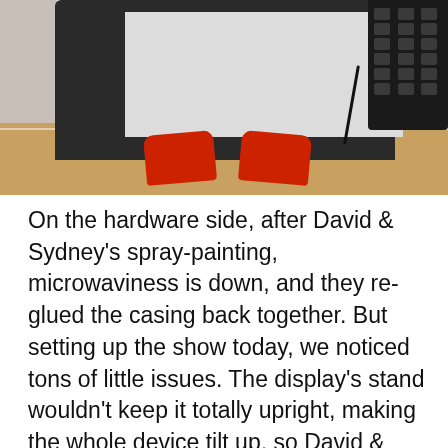[Figure (photo): Photo of a monitor/display with dark charcoal frame viewed from above, showing a light-colored screen interior. A numeric keypad is visible in the top right. A cable hangs down from the right side. Red socks/feet are visible on a wooden floor beneath the monitor, with a white wall in the background.]
On the hardware side, after David & Sydney's spray-painting, microwaviness is down, and they re-glued the casing back together. But setting up the show today, we noticed tons of little issues. The display's stand wouldn't keep it totally upright, making the whole device tilt up, so David & Sydney painted some wood blocks for support in the back. The wire from the keypad kept the casing from being flush